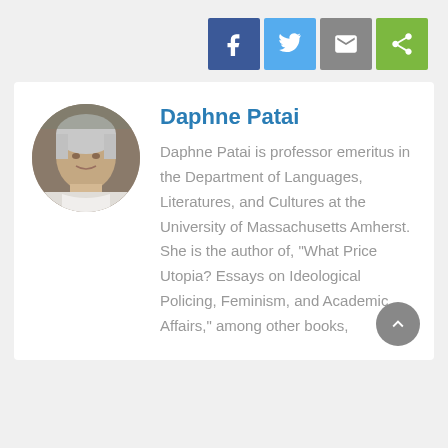[Figure (other): Social media share buttons: Facebook (blue), Twitter (light blue), Email (gray), Share (green)]
[Figure (photo): Circular portrait photo of Daphne Patai, an older woman with short gray hair]
Daphne Patai
Daphne Patai is professor emeritus in the Department of Languages, Literatures, and Cultures at the University of Massachusetts Amherst. She is the author of, "What Price Utopia? Essays on Ideological Policing, Feminism, and Academic Affairs," among other books,